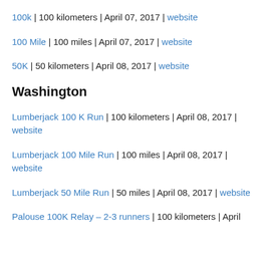100k | 100 kilometers | April 07, 2017 | website
100 Mile | 100 miles | April 07, 2017 | website
50K | 50 kilometers | April 08, 2017 | website
Washington
Lumberjack 100 K Run | 100 kilometers | April 08, 2017 | website
Lumberjack 100 Mile Run | 100 miles | April 08, 2017 | website
Lumberjack 50 Mile Run | 50 miles | April 08, 2017 | website
Palouse 100K Relay – 2-3 runners | 100 kilometers | April